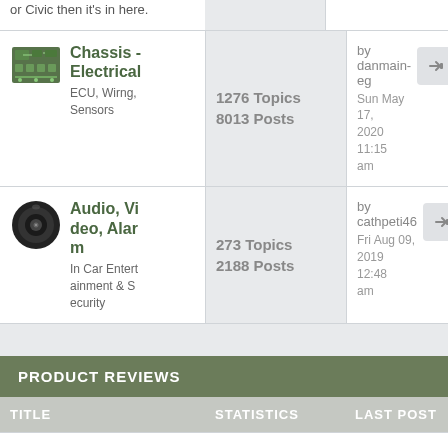or Civic then it's in here.
| TITLE | STATISTICS | LAST POST |
| --- | --- | --- |
| Chassis - Electrical
ECU, Wirng, Sensors | 1276 Topics
8013 Posts | by danmain-eg
Sun May 17, 2020 11:15 am |
| Audio, Video, Alarm
In Car Entertainment & Security | 273 Topics
2188 Posts | by cathpeti46
Fri Aug 09, 2019 12:48 am |
PRODUCT REVIEWS
| TITLE | STATISTICS | LAST POST |
| --- | --- | --- |